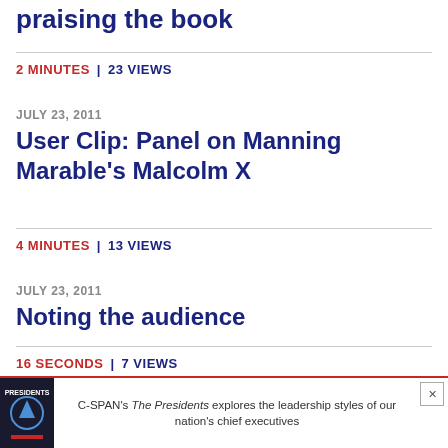praising the book
2 MINUTES | 23 VIEWS
JULY 23, 2011
User Clip: Panel on Manning Marable's Malcolm X
4 MINUTES | 13 VIEWS
JULY 23, 2011
Noting the audience
16 SECONDS | 7 VIEWS
[Figure (infographic): C-SPAN advertisement banner: book cover image on left, text reads C-SPAN's The Presidents explores the leadership styles of our nation's chief executives, with a close/X button in upper right]